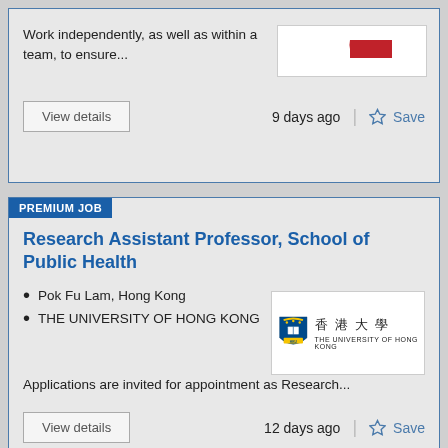Work independently, as well as within a team, to ensure...
9 days ago
Save
View details
PREMIUM JOB
Research Assistant Professor, School of Public Health
Pok Fu Lam, Hong Kong
THE UNIVERSITY OF HONG KONG
[Figure (logo): The University of Hong Kong logo with shield crest and Chinese/English text]
Applications are invited for appointment as Research...
12 days ago
Save
View details